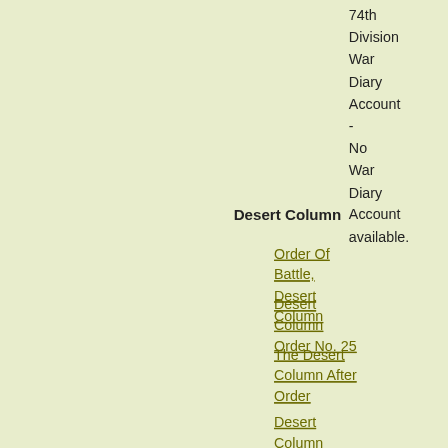74th Division War Diary Account - No War Diary Account available.
Desert Column
Order Of Battle, Desert Column
Desert Column Order No. 25
The Desert Column After Order
Desert Column War Diary Account